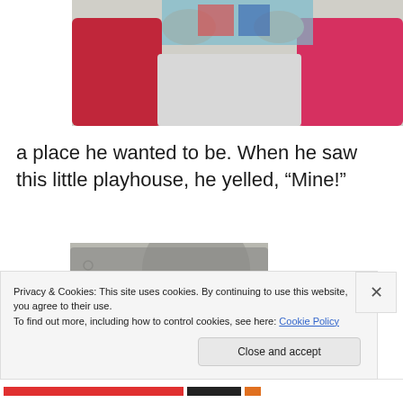[Figure (photo): A child's hands near red and pink plastic trays on a white surface, with a colorful shirt visible.]
a place he wanted to be. When he saw this little playhouse, he yelled, “Mine!”
[Figure (photo): A young child peeking through the door of a grey plastic playhouse with a red door.]
Privacy & Cookies: This site uses cookies. By continuing to use this website, you agree to their use.
To find out more, including how to control cookies, see here: Cookie Policy